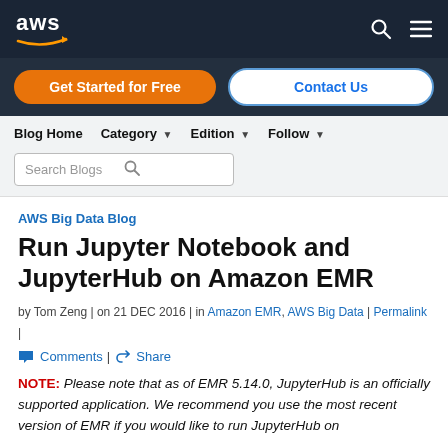[Figure (logo): AWS logo on dark navy navigation bar with search and menu icons]
Get Started for Free | Contact Us
Blog Home | Category | Edition | Follow | Search Blogs
AWS Big Data Blog
Run Jupyter Notebook and JupyterHub on Amazon EMR
by Tom Zeng | on 21 DEC 2016 | in Amazon EMR, AWS Big Data | Permalink | Comments | Share
NOTE: Please note that as of EMR 5.14.0, JupyterHub is an officially supported application. We recommend you use the most recent version of EMR if you would like to run JupyterHub on